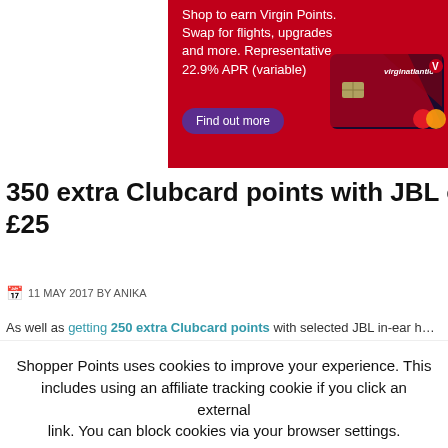[Figure (illustration): Virgin Atlantic credit card advertisement banner on red background. Text: Shop to earn Virgin Points. Swap for flights, upgrades and more. Representative 22.9% APR (variable). Purple 'Find out more' button. Virgin Atlantic Mastercard credit card image on right.]
350 extra Clubcard points with JBL on-ear headphones for £25
11 MAY 2017 BY ANIKA
As well as getting 250 extra Clubcard points with selected JBL in-ear he…
Shopper Points uses cookies to improve your experience. This includes using an affiliate tracking cookie if you click an external link. You can block cookies via your browser settings.
Continuing implies your consent to this policy.
Accept
Reject
Read More